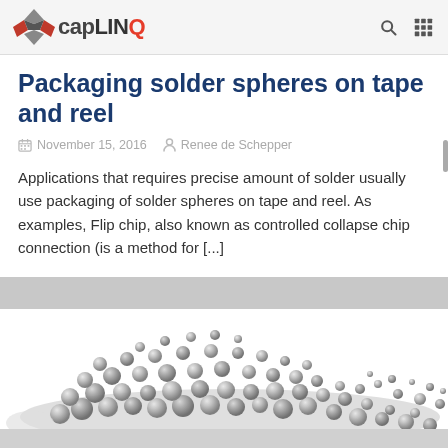capLINQ
Packaging solder spheres on tape and reel
November 15, 2016  Renee de Schepper
Applications that requires precise amount of solder usually use packaging of solder spheres on tape and reel. As examples, Flip chip, also known as controlled collapse chip connection (is a method for [...]
[Figure (photo): Pile of small metallic solder spheres/balls scattered on a white background]